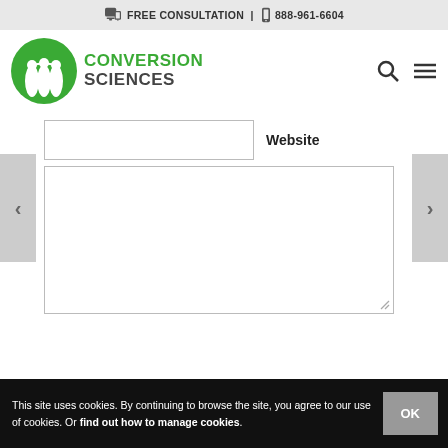FREE CONSULTATION | 888-961-6604
[Figure (logo): Conversion Sciences logo with green circular icon and text]
Website
[Figure (screenshot): Large empty white textarea input field]
This site uses cookies. By continuing to browse the site, you agree to our use of cookies. Or find out how to manage cookies.